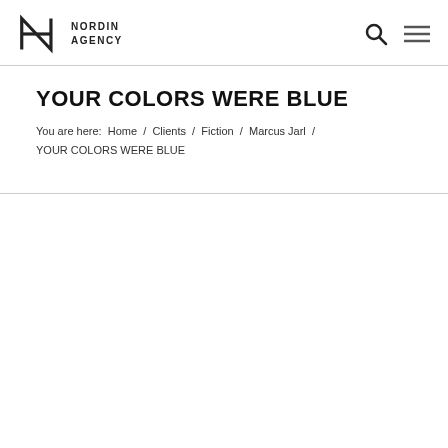Nordin Agency
YOUR COLORS WERE BLUE
You are here:  Home  /  Clients  /  Fiction  /  Marcus Jarl  /  YOUR COLORS WERE BLUE